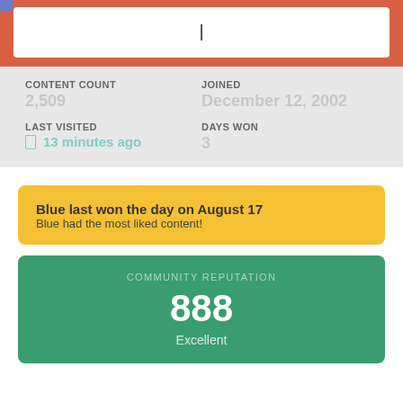[Figure (screenshot): Search bar with text cursor inside orange/red header bar]
CONTENT COUNT
2,509
JOINED
December 12, 2002
LAST VISITED
13 minutes ago
DAYS WON
3
Blue last won the day on August 17
Blue had the most liked content!
COMMUNITY REPUTATION
888
Excellent